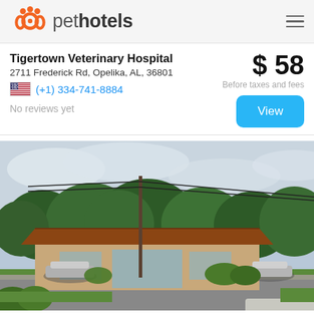pethotels
Tigertown Veterinary Hospital
2711 Frederick Rd, Opelika, AL, 36801
(+1) 334-741-8884
No reviews yet
$ 58
Before taxes and fees
[Figure (photo): Street-level photo of Tigertown Veterinary Hospital, a low brick building with brown roof, power lines, trees, signage, and parked cars visible.]